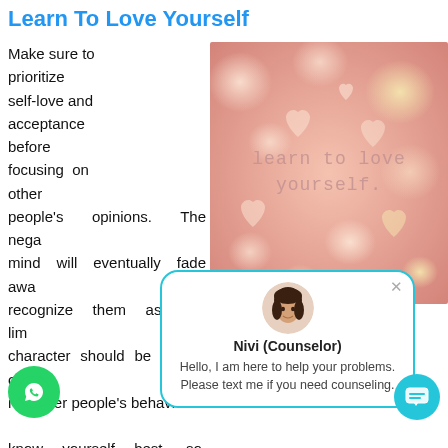Learn To Love Yourself
Make sure to prioritize self-love and acceptance before focusing on other people's opinions. The negative thoughts in your mind will eventually fade away when you learn to recognize them as the limiting beliefs they are. Your character should be based on your own values and not other people's behavior or feelings towards you. You know yourself best, so make the most out of the opportunities life presents to you by making a conscious effort to stay positive whether those around you do the
[Figure (photo): Blurred pink/peach bokeh background with hearts and text 'learn to love yourself.' in a typewriter font]
[Figure (screenshot): Chat widget popup showing a counselor named Nivi with avatar, bold name 'Nivi (Counselor)', and message: Hello, I am here to help your problems. Please text me if you need counseling.]
[Figure (logo): Green circular WhatsApp icon button at bottom left]
[Figure (other): Teal circular chat launcher button at bottom right]